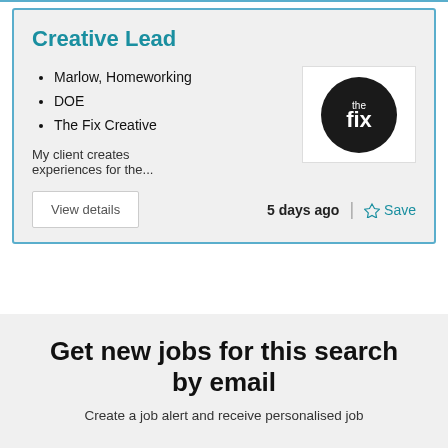Creative Lead
Marlow, Homeworking
DOE
The Fix Creative
My client creates experiences for the...
[Figure (logo): The Fix Creative company logo — dark circle with 'the fix' text in white]
5 days ago
Save
Get new jobs for this search by email
Create a job alert and receive personalised job